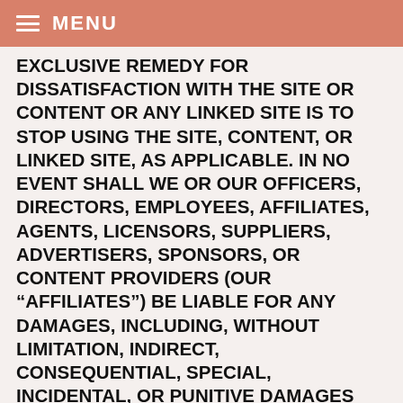MENU
EXCLUSIVE REMEDY FOR DISSATISFACTION WITH THE SITE OR CONTENT OR ANY LINKED SITE IS TO STOP USING THE SITE, CONTENT, OR LINKED SITE, AS APPLICABLE. IN NO EVENT SHALL WE OR OUR OFFICERS, DIRECTORS, EMPLOYEES, AFFILIATES, AGENTS, LICENSORS, SUPPLIERS, ADVERTISERS, SPONSORS, OR CONTENT PROVIDERS (OUR “AFFILIATES”) BE LIABLE FOR ANY DAMAGES, INCLUDING, WITHOUT LIMITATION, INDIRECT, CONSEQUENTIAL, SPECIAL, INCIDENTAL, OR PUNITIVE DAMAGES RESULTING FROM THE USE OR INABILITY TO USE THE SITE, THE CONTENT, THE USER CONTENT OR THE PRODUCTS OR SERVICES ACCESSIBLE OR AVAILABLE THROUGH THE SITE, WHETHER BASED ON WARRANTY, CONTRACT, TORT, OR ANY OTHER LEGAL THEORY, AND WHETHER